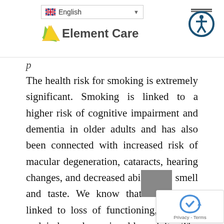English | Element Care [logo] [accessibility icon]
The health risk for smoking is extremely significant. Smoking is linked to a higher risk of cognitive impairment and dementia in older adults and has also been connected with increased risk of macular degeneration, cataracts, hearing changes, and decreased abilities in smell and taste. We know that smoking is linked to loss of functioning, mobility and independence in older adults. The risk for cardiovascular disease is gre... in this age bracket. For older wom...